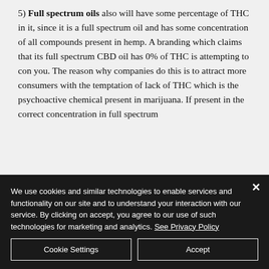5) Full spectrum oils also will have some percentage of THC in it, since it is a full spectrum oil and has some concentration of all compounds present in hemp. A branding which claims that its full spectrum CBD oil has 0% of THC is attempting to con you. The reason why companies do this is to attract more consumers with the temptation of lack of THC which is the psychoactive chemical present in marijuana. If present in the correct concentration in full spectrum
We use cookies and similar technologies to enable services and functionality on our site and to understand your interaction with our service. By clicking on accept, you agree to our use of such technologies for marketing and analytics. See Privacy Policy
Cookie Settings | Accept